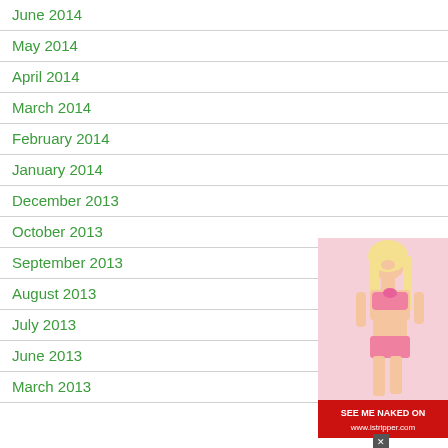June 2014
May 2014
April 2014
March 2014
February 2014
January 2014
December 2013
October 2013
September 2013
August 2013
July 2013
June 2013
March 2013
[Figure (illustration): Advertisement overlay showing a blonde woman in pink lingerie with a red banner reading SEE ME NAKED ON www.istripper.com]